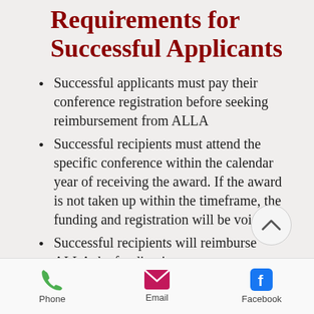Requirements for Successful Applicants
Successful applicants must pay their conference registration before seeking reimbursement from ALLA
Successful recipients must attend the specific conference within the calendar year of receiving the award. If the award is not taken up within the timeframe, the funding and registration will be void.
Successful recipients will reimburse ALLA the funding in
Phone | Email | Facebook